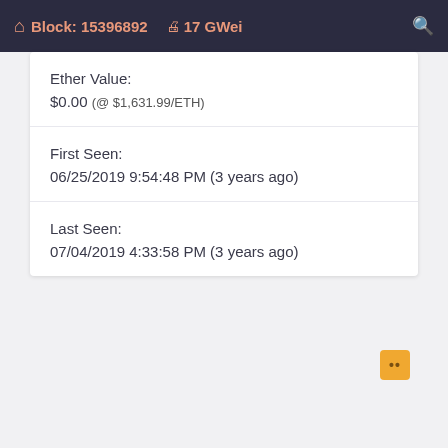Block: 15396892  17 GWei
Ether Value:
$0.00 (@ $1,631.99/ETH)
First Seen:
06/25/2019 9:54:48 PM (3 years ago)
Last Seen:
07/04/2019 4:33:58 PM (3 years ago)